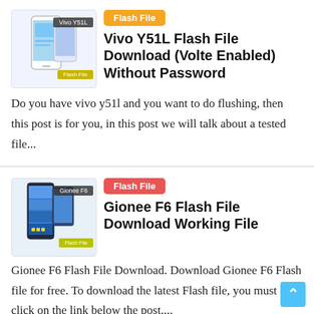[Figure (illustration): Vivo Y51L phone thumbnail image with dark label bar showing 'Vivo Y51L' and yellow 'Flash File' badge]
Flash File
Vivo Y51L Flash File Download (Volte Enabled) Without Password
Do you have vivo y51l and you want to do flushing, then this post is for you, in this post we will talk about a tested file...
[Figure (illustration): Gionee F6 phone thumbnail image with dark label bar showing 'Gionee F6' and yellow-green 'Flash File' badge]
Flash File
Gionee F6 Flash File Download Working File
Gionee F6 Flash File Download. Download Gionee F6 Flash file for free. To download the latest Flash file, you must click on the link below the post....